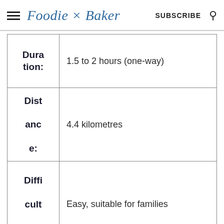Foodie × Baker — SUBSCRIBE
| Label | Value |
| --- | --- |
| Duration: | 1.5 to 2 hours (one-way) |
| Distance: | 4.4 kilometres |
| Difficulty: | Easy, suitable for families |
| Facilities: | Café/restaurant and toilet facilities |